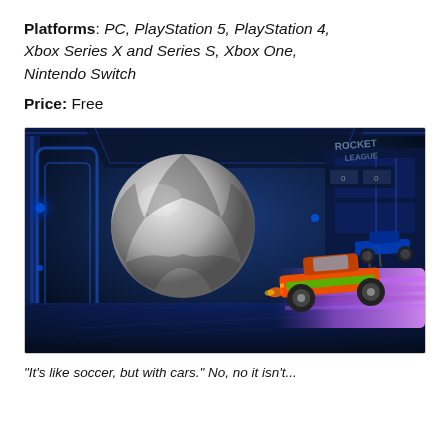Platforms: PC, PlayStation 5, PlayStation 4, Xbox Series X and Series S, Xbox One, Nintendo Switch
Price: Free
[Figure (photo): Screenshot from Rocket League showing an orange and green car driving toward a large soccer ball on a futuristic blue-lit arena court, with another blue car visible in the background.]
"It's like soccer, but with cars." No, no it isn't...